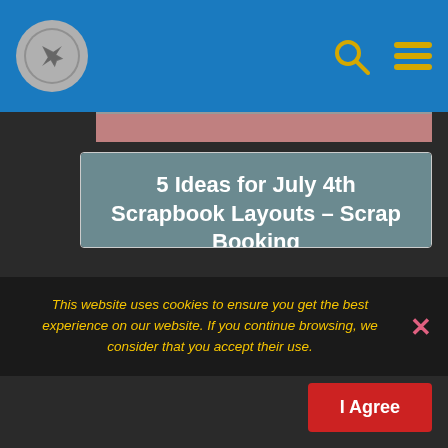[Figure (screenshot): Blue navigation bar with airplane logo circle icon on left, search (magnifying glass) and hamburger menu icons on right in gold/yellow color]
5 Ideas for July 4th Scrapbook Layouts – Scrap Booking
4 Jul 2016 ... Happy Fourth of July! Once the celebrations are over today, you'll be looking for ideas to scrapbook all the memories! Here are five great ...
https://scrapbooking.craftgossip.com/5-ideas-for-july-4th-scrapbook-layouts/2016/07/04/
This website uses cookies to ensure you get the best experience on our website. If you continue browsing, we consider that you accept their use.
I Agree